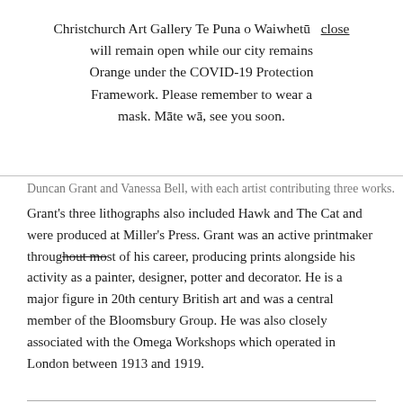Christchurch Art Gallery Te Puna o Waiwhetū  close will remain open while our city remains Orange under the COVID-19 Protection Framework. Please remember to wear a mask. Mā te wā, see you soon.
Duncan Grant and Vanessa Bell, with each artist contributing three works. Grant's three lithographs also included Hawk and The Cat and were produced at Miller's Press. Grant was an active printmaker throughout most of his career, producing prints alongside his activity as a painter, designer, potter and decorator. He is a major figure in 20th century British art and was a central member of the Bloomsbury Group. He was also closely associated with the Omega Workshops which operated in London between 1913 and 1919.
Collection